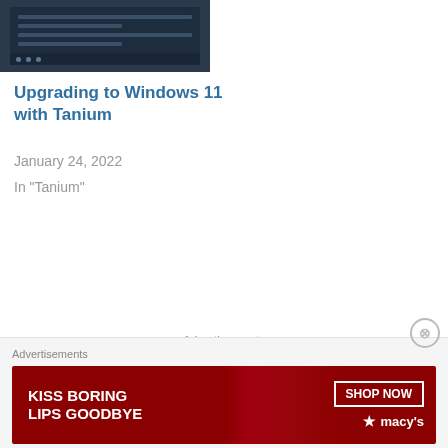[Figure (screenshot): Thumbnail screenshot of a dark Windows software interface]
Upgrading to Windows 11 with Tanium
January 24, 2022
In "Tanium"
Categories: Tanium
← Digging into the Windows Feature Experience Pack
Turn off the (new) Edge welcome page →
Advertisements
Advertisements
[Figure (photo): Macy's advertisement banner: KISS BORING LIPS GOODBYE with SHOP NOW button and Macy's star logo]